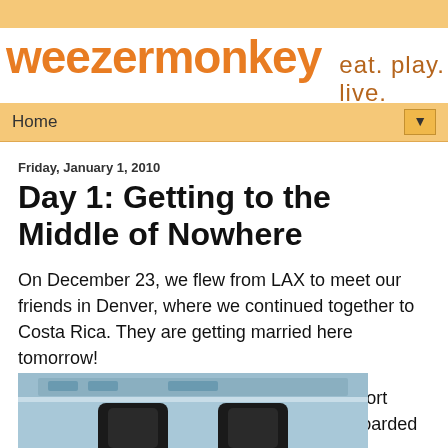weezermonkey  eat. play. live.
Home
Friday, January 1, 2010
Day 1: Getting to the Middle of Nowhere
On December 23, we flew from LAX to meet our friends in Denver, where we continued together to Costa Rica. They are getting married here tomorrow!
When we landed, they proceeded to the resort town that will host their nuptials, while we boarded a tiny plane to somewhere far more remote.
[Figure (photo): Interior of a small plane showing seats and passengers viewed from behind]